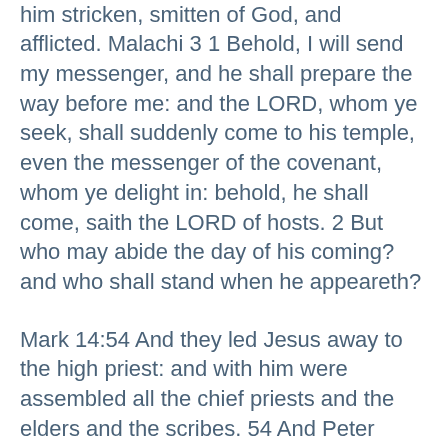carried our sorrows: yet we did esteem him stricken, smitten of God, and afflicted. Malachi 3 1 Behold, I will send my messenger, and he shall prepare the way before me: and the LORD, whom ye seek, shall suddenly come to his temple, even the messenger of the covenant, whom ye delight in: behold, he shall come, saith the LORD of hosts. 2 But who may abide the day of his coming? and who shall stand when he appeareth?
Mark 14:54 And they led Jesus away to the high priest: and with him were assembled all the chief priests and the elders and the scribes. 54 And Peter followed him afar off, even into the palace of the high priest: and he sat with the servants, and warmed himself at the fire…
John 20 1 The first day of the week cometh Mary Magdalene early, when it was yet dark, unto the sepulchre, and seeth the stone taken away from the sepulchre. 2 Then she runneth, and